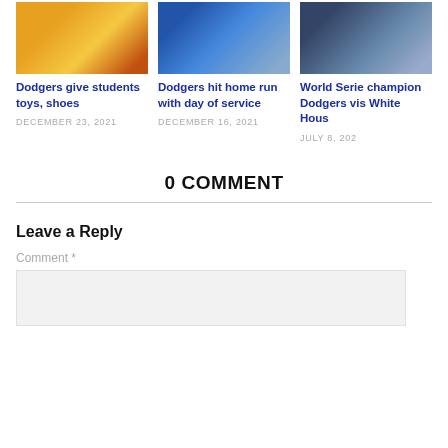[Figure (photo): Photo of Dodgers mascot giving toys/shoes to students]
Dodgers give students toys, shoes
DECEMBER 23, 2021
[Figure (photo): Photo of Dodgers players doing community service in classroom]
Dodgers hit home run with day of service
DECEMBER 16, 2021
[Figure (photo): Photo of World Series champion Dodgers visiting the White House]
World Serie champion Dodgers vis White Hous
JULY 8, 202
0 COMMENT
Leave a Reply
Comment *